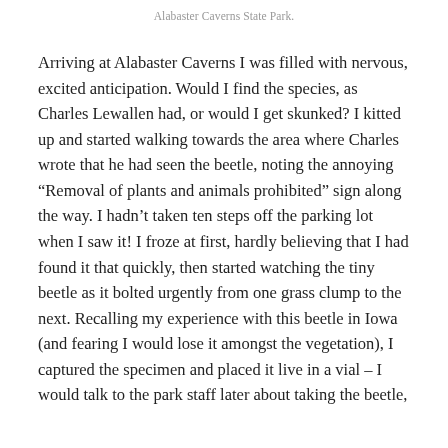Alabaster Caverns State Park.
Arriving at Alabaster Caverns I was filled with nervous, excited anticipation. Would I find the species, as Charles Lewallen had, or would I get skunked? I kitted up and started walking towards the area where Charles wrote that he had seen the beetle, noting the annoying “Removal of plants and animals prohibited” sign along the way. I hadn’t taken ten steps off the parking lot when I saw it! I froze at first, hardly believing that I had found it that quickly, then started watching the tiny beetle as it bolted urgently from one grass clump to the next. Recalling my experience with this beetle in Iowa (and fearing I would lose it amongst the vegetation), I captured the specimen and placed it live in a vial – I would talk to the park staff later about taking the beetle, but for now I needed to secure the beetle before further